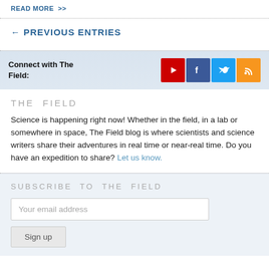READ MORE >>
← PREVIOUS ENTRIES
Connect with The Field:
[Figure (illustration): Social media icons: YouTube (red), Facebook (dark blue), Twitter (blue), RSS (orange)]
THE FIELD
Science is happening right now! Whether in the field, in a lab or somewhere in space, The Field blog is where scientists and science writers share their adventures in real time or near-real time. Do you have an expedition to share? Let us know.
SUBSCRIBE TO THE FIELD
Your email address
Sign up